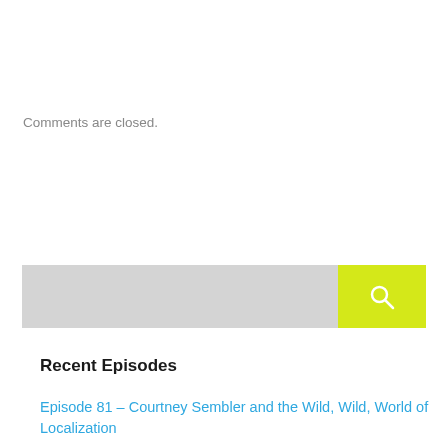Comments are closed.
[Figure (other): Search bar with light gray input field and yellow search button with magnifying glass icon]
Recent Episodes
Episode 81 – Courtney Sembler and the Wild, Wild, World of Localization